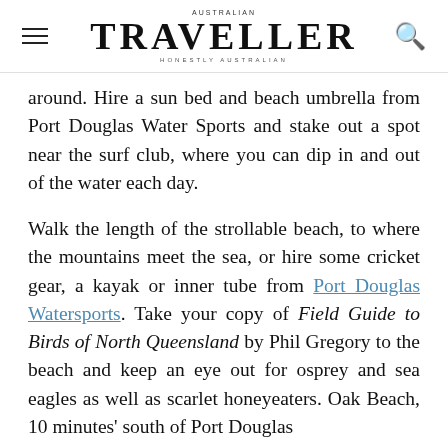AUSTRALIAN TRAVELLER — HONESTLY AUSTRALIAN
around. Hire a sun bed and beach umbrella from Port Douglas Water Sports and stake out a spot near the surf club, where you can dip in and out of the water each day.
Walk the length of the strollable beach, to where the mountains meet the sea, or hire some cricket gear, a kayak or inner tube from Port Douglas Watersports. Take your copy of Field Guide to Birds of North Queensland by Phil Gregory to the beach and keep an eye out for osprey and sea eagles as well as scarlet honeyeaters. Oak Beach, 10 minutes' south of Port Douglas...